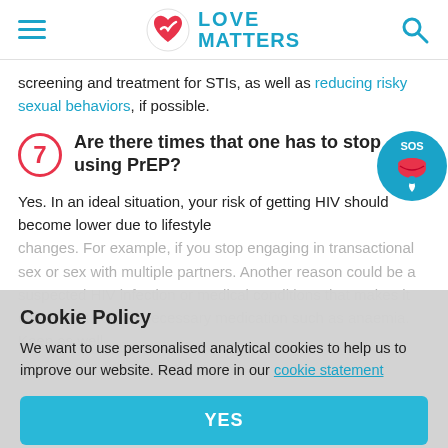Love Matters
screening and treatment for STIs, as well as reducing risky sexual behaviors, if possible.
7 Are there times that one has to stop using PrEP?
Yes. In an ideal situation, your risk of getting HIV should become lower due to lifestyle changes. For example, if you stop engaging in transactional sex or sex with multiple partners. Another reason could be a suspected HIV infection or medical conditions that makes it difficult to take the necessary medication such as anaemia. Keep as well.
Cookie Policy
We want to use personalised analytical cookies to help us to improve our website. Read more in our cookie statement
YES
Taking PrEP every day is very important for it to work effectively.